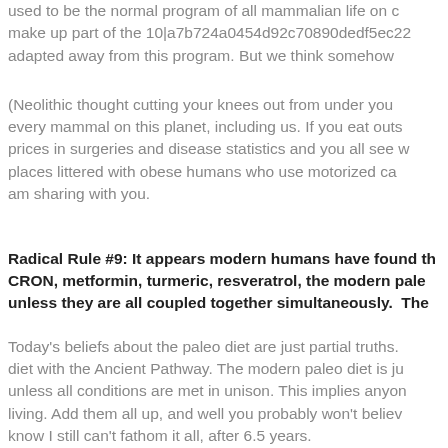used to be the normal program of all mammalian life on c make up part of the 10|a7b724a0454d92c70890dedf5ec22 adapted away from this program. But we think somehow
(Neolithic thought cutting your knees out from under you every mammal on this planet, including us. If you eat outs prices in surgeries and disease statistics and you all see w places littered with obese humans who use motorized ca am sharing with you.
Radical Rule #9: It appears modern humans have found th CRON, metformin, turmeric, resveratrol, the modern pale unless they are all coupled together simultaneously.  The
Today's beliefs about the paleo diet are just partial truths. diet with the Ancient Pathway. The modern paleo diet is ju unless all conditions are met in unison. This implies anyon living. Add them all up, and well you probably won't believ know I still can't fathom it all, after 6.5 years.